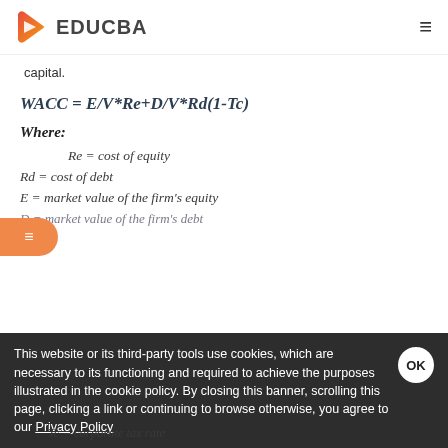EDUCBA
capital.
Where:
Re = cost of equity
Rd = cost of debt
E = market value of the firm's equity
D = market value of the firm's debt
This website or its third-party tools use cookies, which are necessary to its functioning and required to achieve the purposes illustrated in the cookie policy. By closing this banner, scrolling this page, clicking a link or continuing to browse otherwise, you agree to our Privacy Policy
Tc = corporate tax rate